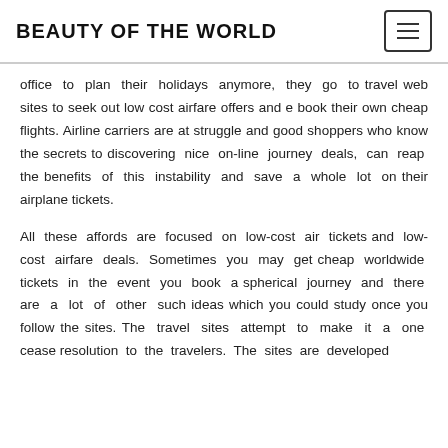BEAUTY OF THE WORLD
office to plan their holidays anymore, they go to travel web sites to seek out low cost airfare offers and e book their own cheap flights. Airline carriers are at struggle and good shoppers who know the secrets to discovering nice on-line journey deals, can reap the benefits of this instability and save a whole lot on their airplane tickets.
All these affords are focused on low-cost air tickets and low-cost airfare deals. Sometimes you may get cheap worldwide tickets in the event you book a spherical journey and there are a lot of other such ideas which you could study once you follow the sites. The travel sites attempt to make it a one cease resolution to the travelers. The sites are developed